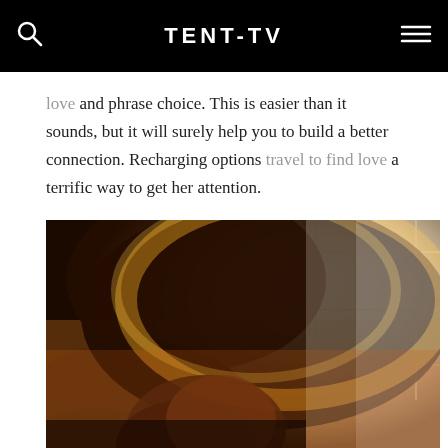TENT-TV
love and phrase choice. This is easier than it sounds, but it will surely help you to build a better connection. Recharging options travel to find love a terrific way to get her attention.
[Figure (photo): Woman with curly afro hair, eyes closed, bathed in warm golden backlight from a window with grid-like panes behind her.]